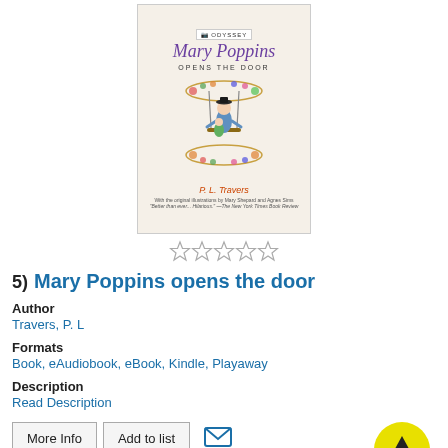[Figure (illustration): Book cover for 'Mary Poppins Opens the Door' by P. L. Travers, showing a figure on a swing surrounded by flowers, with script title in purple and author name in red-orange.]
[Figure (other): Five empty/unfilled star rating icons in a row]
5)  Mary Poppins opens the door
Author
Travers, P. L
Formats
Book, eAudiobook, eBook, Kindle, Playaway
Description
Read Description
[Figure (other): 2 DISC SET badge in yellow/gold at the bottom of the page]